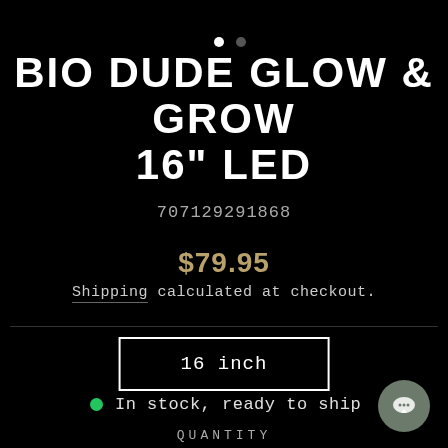[Figure (other): Two navigation dots at top center, one white filled and one dark gray]
BIO DUDE GLOW & GROW 16" LED
707129291868
$79.95
Shipping calculated at checkout.
16 inch
In stock, ready to ship
QUANTITY